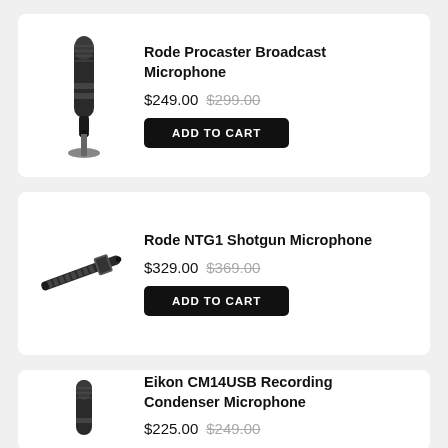[Figure (photo): Rode Procaster Broadcast Microphone product image - black cylindrical microphone]
Rode Procaster Broadcast Microphone
$249.00 $299.00
ADD TO CART
[Figure (photo): Rode NTG1 Shotgun Microphone product image - elongated shotgun mic on mount]
Rode NTG1 Shotgun Microphone
$329.00 $369.00
ADD TO CART
[Figure (photo): Eikon CM14USB Recording Condenser Microphone product image]
Eikon CM14USB Recording Condenser Microphone
$225.00 $249.00